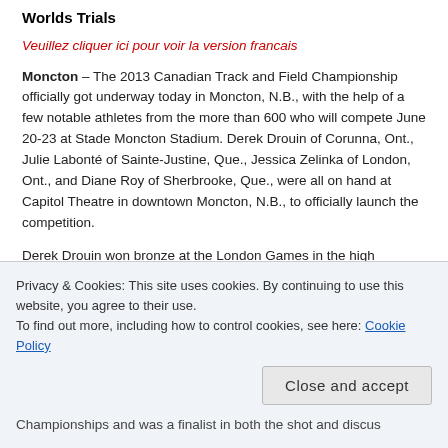Worlds Trials
Veuillez cliquer ici pour voir la version francais
Moncton – The 2013 Canadian Track and Field Championship officially got underway today in Moncton, N.B., with the help of a few notable athletes from the more than 600 who will compete June 20-23 at Stade Moncton Stadium. Derek Drouin of Corunna, Ont., Julie Labonté of Sainte-Justine, Que., Jessica Zelinka of London, Ont., and Diane Roy of Sherbrooke, Que., were all on hand at Capitol Theatre in downtown Moncton, N.B., to officially launch the competition.
Derek Drouin won bronze at the London Games in the high Championships and was a finalist in both the shot and discus
Privacy & Cookies: This site uses cookies. By continuing to use this website, you agree to their use. To find out more, including how to control cookies, see here: Cookie Policy
Close and accept